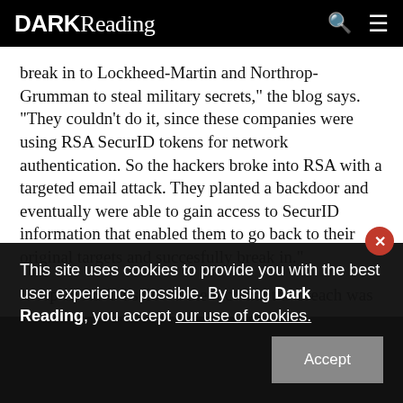DARK Reading
break in to Lockheed-Martin and Northrop-Grumman to steal military secrets," the blog says. "They couldn't do it, since these companies were using RSA SecurID tokens for network authentication. So the hackers broke into RSA with a targeted email attack. They planted a backdoor and eventually were able to gain access to SecurID information that enabled them to go back to their original targets and succesfully break in."
In April, RSA disclosed the fact that the breach was
This site uses cookies to provide you with the best user experience possible. By using Dark Reading, you accept our use of cookies.